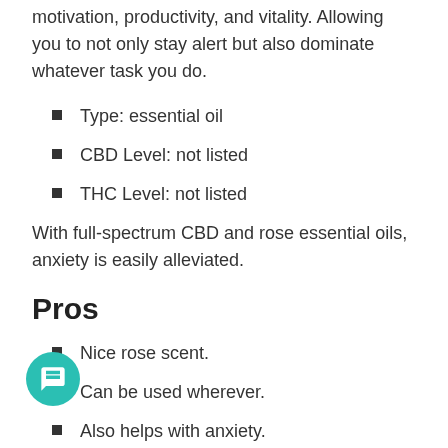motivation, productivity, and vitality. Allowing you to not only stay alert but also dominate whatever task you do.
Type: essential oil
CBD Level: not listed
THC Level: not listed
With full-spectrum CBD and rose essential oils, anxiety is easily alleviated.
Pros
Nice rose scent.
Can be used wherever.
Also helps with anxiety.
Cons